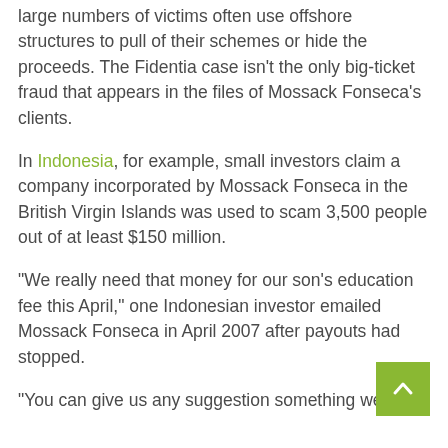large numbers of victims often use offshore structures to pull of their schemes or hide the proceeds. The Fidentia case isn't the only big-ticket fraud that appears in the files of Mossack Fonseca's clients.
In Indonesia, for example, small investors claim a company incorporated by Mossack Fonseca in the British Virgin Islands was used to scam 3,500 people out of at least $150 million.
“We really need that money for our son’s education fee this April,” one Indonesian investor emailed Mossack Fonseca in April 2007 after payouts had stopped.
“You can give us any suggestion something we